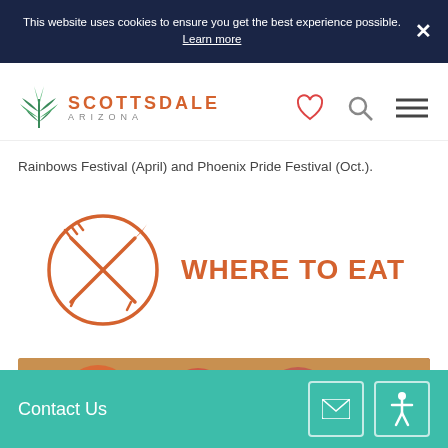This website uses cookies to ensure you get the best experience possible. Learn more
[Figure (logo): Scottsdale Arizona logo with agave plant icon]
Rainbows Festival (April) and Phoenix Pride Festival (Oct.).
WHERE TO EAT
[Figure (photo): Food photo at bottom of page]
Contact Us